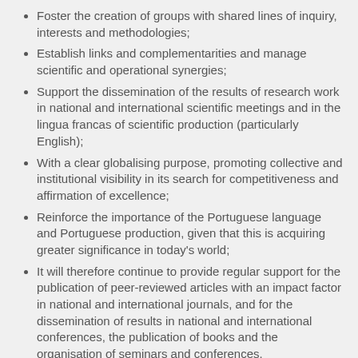Foster the creation of groups with shared lines of inquiry, interests and methodologies;
Establish links and complementarities and manage scientific and operational synergies;
Support the dissemination of the results of research work in national and international scientific meetings and in the lingua francas of scientific production (particularly English);
With a clear globalising purpose, promoting collective and institutional visibility in its search for competitiveness and affirmation of excellence;
Reinforce the importance of the Portuguese language and Portuguese production, given that this is acquiring greater significance in today's world;
It will therefore continue to provide regular support for the publication of peer-reviewed articles with an impact factor in national and international journals, and for the dissemination of results in national and international conferences, the publication of books and the organisation of seminars and conferences.
The CIAUD will continue to support quality projects involving the creation of prototypes and the registration